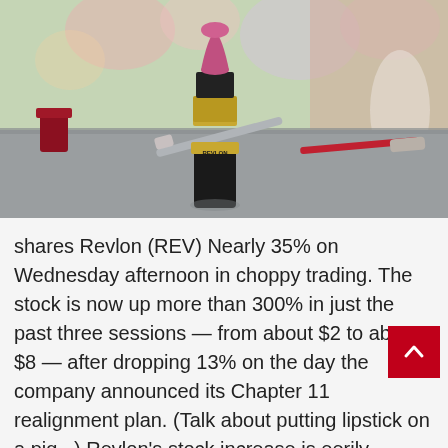[Figure (photo): A Revlon lipstick in pink/red standing upright on a gray surface, with other makeup items blurred in the background. The lipstick has a gold band and black base with the REVLON logo visible.]
shares Revlon (REV) Nearly 35% on Wednesday afternoon in choppy trading. The stock is now up more than 300% in just the past three sessions — from about $2 to about $8 — after dropping 13% on the day the company announced its Chapter 11 realignment plan. (Talk about putting lipstick on a pig...) Revlon's stock increase is eerily reminiscent of what happened with the car rental company hertz (HTZ) In the year 2020 beyond filed for bankruptcy. Stocks